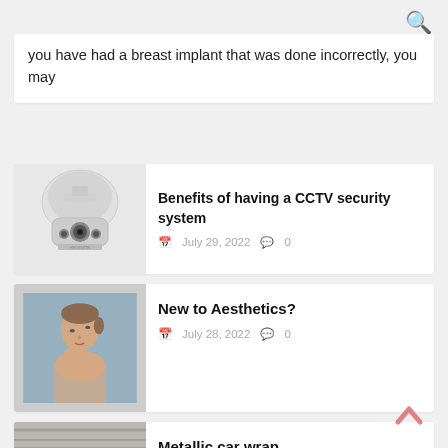🔍 (search icon)
you have had a breast implant that was done incorrectly, you may
[Figure (photo): Hikvision PTZ dome security camera, white, shown from front-bottom angle]
Benefits of having a CCTV security system
July 29, 2022  0
[Figure (photo): Young woman with pulled-back hair looking upward, touching her chin, against a grey-blue background — aesthetics concept]
New to Aesthetics?
July 28, 2022  0
[Figure (photo): Person in blue gloves wrapping a car in a workshop, metallic car wrap in progress]
Metallic car wrap
July 21, 2022  0